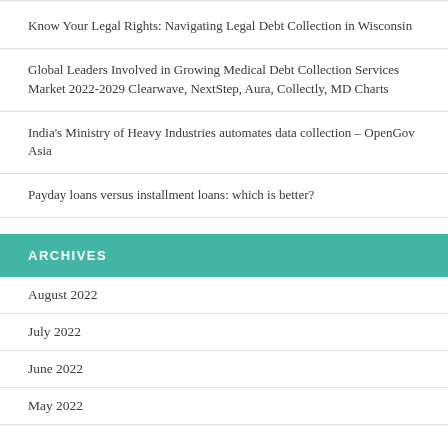Know Your Legal Rights: Navigating Legal Debt Collection in Wisconsin
Global Leaders Involved in Growing Medical Debt Collection Services Market 2022-2029 Clearwave, NextStep, Aura, Collectly, MD Charts
India's Ministry of Heavy Industries automates data collection – OpenGov Asia
Payday loans versus installment loans: which is better?
ARCHIVES
August 2022
July 2022
June 2022
May 2022